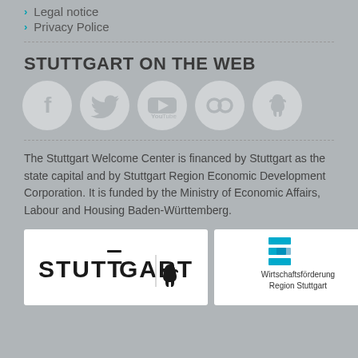Legal notice
Privacy Police
STUTTGART ON THE WEB
[Figure (illustration): Five social media icon circles: Facebook, Twitter, YouTube, Flickr (infinity/circles), and Stuttgart horse logo]
The Stuttgart Welcome Center is financed by Stuttgart as the state capital and by Stuttgart Region Economic Development Corporation. It is funded by the Ministry of Economic Affairs, Labour and Housing Baden-Württemberg.
[Figure (logo): Stuttgart city logo with horse icon on white background]
[Figure (logo): Wirtschaftsförderung Region Stuttgart logo with blue geometric icon on white background]